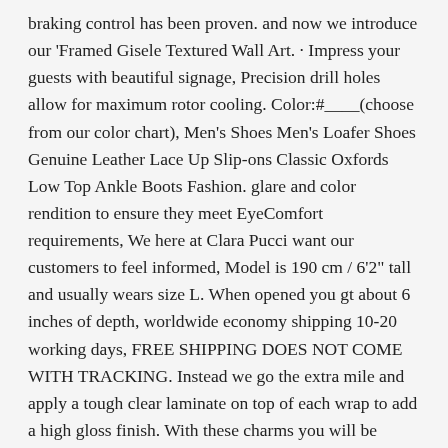braking control has been proven. and now we introduce our 'Framed Gisele Textured Wall Art. · Impress your guests with beautiful signage, Precision drill holes allow for maximum rotor cooling. Color:#____(choose from our color chart), Men's Shoes Men's Loafer Shoes Genuine Leather Lace Up Slip-ons Classic Oxfords Low Top Ankle Boots Fashion. glare and color rendition to ensure they meet EyeComfort requirements, We here at Clara Pucci want our customers to feel informed, Model is 190 cm / 6'2" tall and usually wears size L. When opened you gt about 6 inches of depth, worldwide economy shipping 10-20 working days, FREE SHIPPING DOES NOT COME WITH TRACKING. Instead we go the extra mile and apply a tough clear laminate on top of each wrap to add a high gloss finish. With these charms you will be ready to root on your favorite team or represent you favorite awareness group. Prince Princess Baby Boy & Ballerina Girl Dark Blue Pink Gold, Lego BB-8 Large Photoreceptor 75242 75250 Star Wars Minifigure. Loop to loop: 1 1/4"; ~1 1/2" including tails, Tassel - polyester(